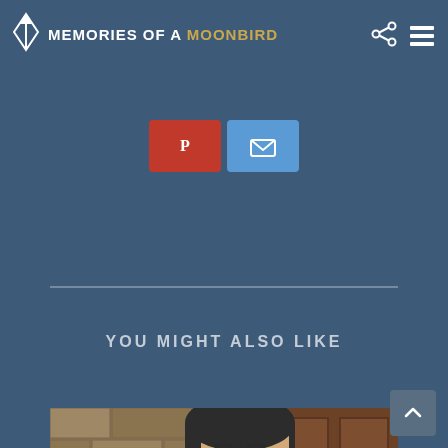Memories of a Moonbird
[Figure (screenshot): Social share buttons — Pinterest (red) and Email (blue) buttons partially visible at top]
[Figure (illustration): Horizontal divider line across the page]
YOU MIGHT ALSO LIKE
[Figure (photo): Portrait photo of a middle-aged man with dark hair, beard, and blue eyes, standing in front of a stone wall and wooden door]